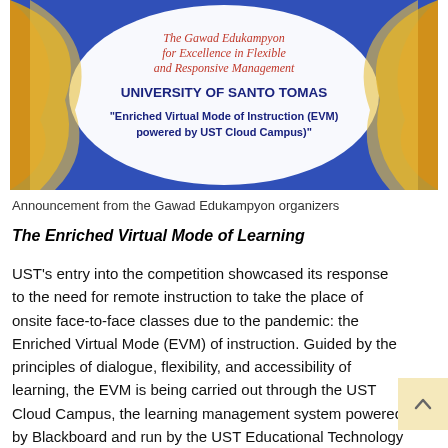[Figure (illustration): Award certificate/announcement image with decorative red, gold/yellow, and blue design. Center text reads: 'The Gawad Edukampyon for Excellence in Flexible and Responsive Management' in red italic, 'UNIVERSITY OF SANTO TOMAS' in bold blue, and '"Enriched Virtual Mode of Instruction (EVM) powered by UST Cloud Campus"' in bold blue.]
Announcement from the Gawad Edukampyon organizers
The Enriched Virtual Mode of Learning
UST's entry into the competition showcased its response to the need for remote instruction to take the place of onsite face-to-face classes due to the pandemic: the Enriched Virtual Mode (EVM) of instruction. Guided by the principles of dialogue, flexibility, and accessibility of learning, the EVM is being carried out through the UST Cloud Campus, the learning management system powered by Blackboard and run by the UST Educational Technology Center.